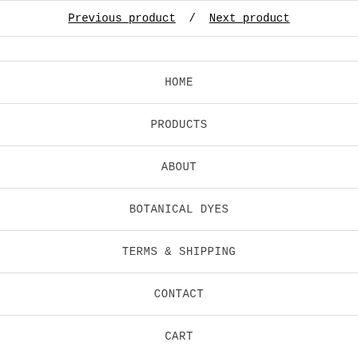Previous product / Next product
HOME
PRODUCTS
ABOUT
BOTANICAL DYES
TERMS & SHIPPING
CONTACT
CART